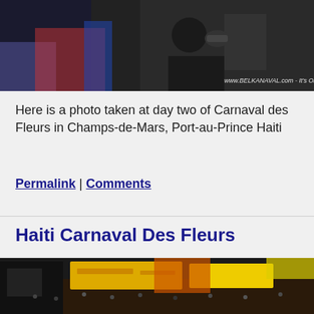[Figure (photo): Top portion of a photo from Carnaval des Fleurs, showing crowd with watermark 'www.BELKANAVAL.com - It's On Fouye...']
Here is a photo taken at day two of Carnaval des Fleurs in Champs-de-Mars, Port-au-Prince Haiti
Permalink | Comments
Haiti Carnaval Des Fleurs
[Figure (photo): Large crowd at Haiti Carnaval Des Fleurs event with yellow banners and performers on stage]